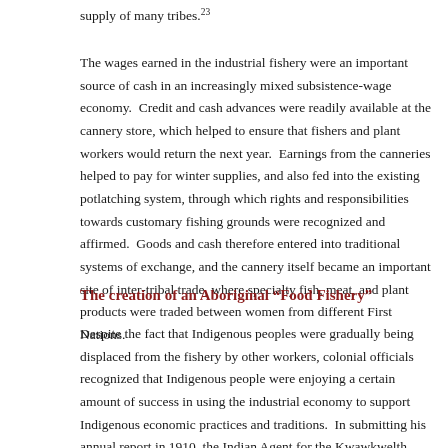supply of many tribes.²³
The wages earned in the industrial fishery were an important source of cash in an increasingly mixed subsistence-wage economy.  Credit and cash advances were readily available at the cannery store, which helped to ensure that fishers and plant workers would return the next year.  Earnings from the canneries helped to pay for winter supplies, and also fed into the existing potlatching system, through which rights and responsibilities towards customary fishing grounds were recognized and affirmed.  Goods and cash therefore entered into traditional systems of exchange, and the cannery itself became an important site of inter-tribal trade, where specialty fish, meat, and plant products were traded between women from different First Nations.
The creation of an Aboriginal “Food Fishery”
Despite the fact that Indigenous peoples were gradually being displaced from the fishery by other workers, colonial officials recognized that Indigenous people were enjoying a certain amount of success in using the industrial economy to support Indigenous economic practices and traditions.  In submitting his annual report in 1910, the Indian Agent for the Kwawkwelth Agency, W. M. Halliday, complained about the difficulty in enforcing the law against the potlatch, and the fact that